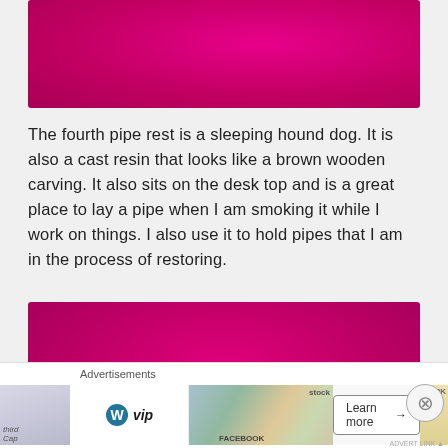[Figure (photo): Hot pink/magenta felt or fabric background, top portion of an image cropped at top]
The fourth pipe rest is a sleeping hound dog. It is also a cast resin that looks like a brown wooden carving. It also sits on the desk top and is a great place to lay a pipe when I am smoking it while I work on things. I also use it to hold pipes that I am in the process of restoring.
[Figure (photo): A brown resin sleeping hound dog figure on a hot pink/magenta felt background]
Advertisements
[Figure (other): Advertisement bar with WordPress VIP logo, map/social media imagery, and Learn more button]